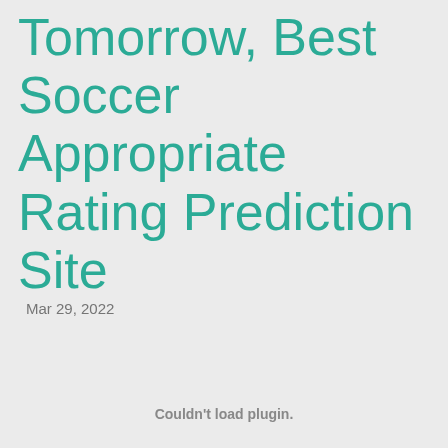Tomorrow, Best Soccer Appropriate Rating Prediction Site
Mar 29, 2022
Couldn't load plugin.